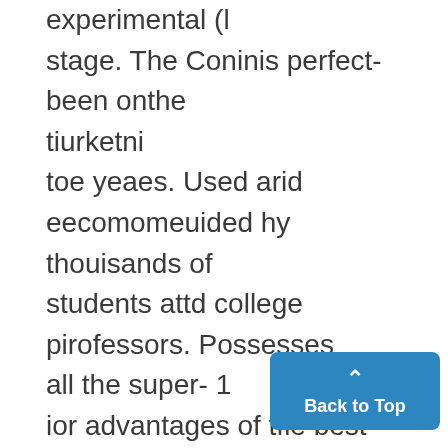experimental (l stage. The Coninis perfect-been onthe tiurketni toe yeaes. Used arid eecomomeuided hy thouisands of students attd college pirofessors. Possesses all the super- 1 ior advantages of tfie best fountain petis suppleinented by the following distinct and deirahie featuresi Fills and cleans itself. No dropper ~r No inky fingers. No bother. A i No joints to leak. No clogging. 1